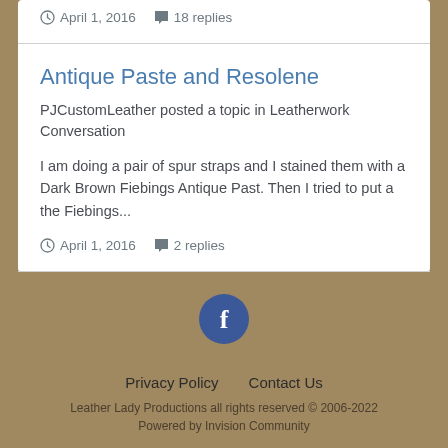April 1, 2016  18 replies
Antique Paste and Resolene
PJCustomLeather posted a topic in Leatherwork Conversation
I am doing a pair of spur straps and I stained them with a Dark Brown Fiebings Antique Past. Then I tried to put a the Fiebings...
April 1, 2016  2 replies
[Figure (logo): Facebook logo circle icon in dark blue]
Privacy Policy    Contact Us
Leather Lady Productions all rights reserved © 2006-2022
Powered by Invision Community